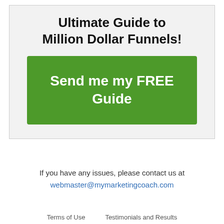Ultimate Guide to Million Dollar Funnels!
Send me my FREE Guide
If you have any issues, please contact us at webmaster@mymarketingcoach.com
Terms of Use   Testimonials and Results